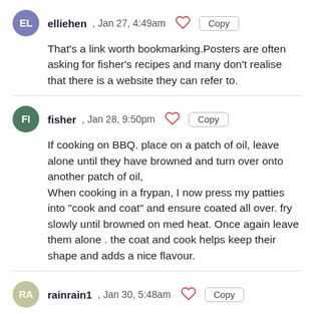elliehen, Jan 27, 4:49am [heart] Copy
That's a link worth bookmarking.Posters are often asking for fisher's recipes and many don't realise that there is a website they can refer to.
fisher, Jan 28, 9:50pm [heart] Copy
If cooking on BBQ. place on a patch of oil, leave alone until they have browned and turn over onto another patch of oil,
When cooking in a frypan, I now press my patties into "cook and coat" and ensure coated all over. fry slowly until browned on med heat. Once again leave them alone . the coat and cook helps keep their shape and adds a nice flavour.
rainrain1, Jan 30, 5:48am [heart] Copy